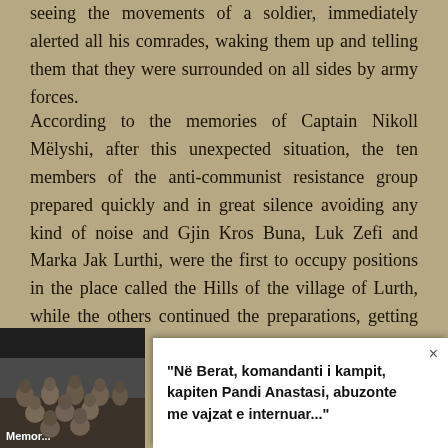seeing the movements of a soldier, immediately alerted all his comrades, waking them up and telling them that they were surrounded on all sides by army forces.
According to the memories of Captain Nikoll Mëlyshi, after this unexpected situation, the ten members of the anti-communist resistance group prepared quickly and in great silence avoiding any kind of noise and Gjin Kros Buna, Luk Zefi and Marka Jak Lurthi, were the first to occupy positions in the place called the Hills of the village of Lurth, while the others continued the preparations, getting ready to open fire. Before long, Gjini, Luka and Marku fell into a strong ambush of the Pursuit Forces and immediately a heavy fire was opened on them from all sides by the Pursuit Forces and so
[Figure (photo): Black and white group photograph of people, with a caption label partially reading 'Memor...' at the bottom left.]
"Në Berat, komandanti i kampit, kapiten Pandi Anastasi, abuzonte me vajzat e internuar..."